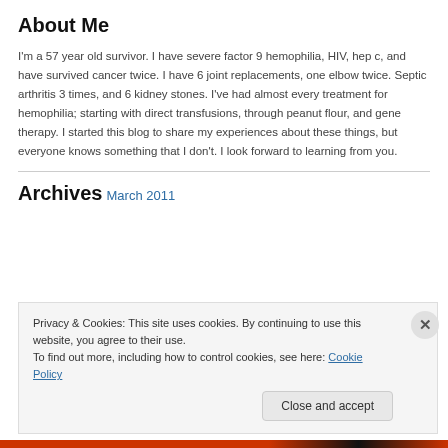About Me
I'm a 57 year old survivor. I have severe factor 9 hemophilia, HIV, hep c, and have survived cancer twice. I have 6 joint replacements, one elbow twice. Septic arthritis 3 times, and 6 kidney stones. I've had almost every treatment for hemophilia; starting with direct transfusions, through peanut flour, and gene therapy. I started this blog to share my experiences about these things, but everyone knows something that I don't. I look forward to learning from you.
Archives
March 2011
Privacy & Cookies: This site uses cookies. By continuing to use this website, you agree to their use.
To find out more, including how to control cookies, see here: Cookie Policy